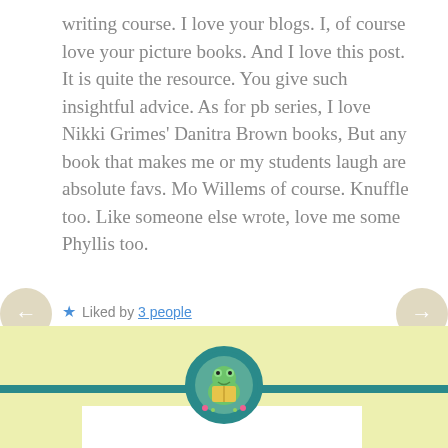writing course. I love your blogs. I, of course love your picture books. And I love this post. It is quite the resource. You give such insightful advice. As for pb series, I love Nikki Grimes' Danitra Brown books, But any book that makes me or my students laugh are absolute favs. Mo Willems of course. Knuffle too. Like someone else wrote, love me some Phyllis too.
Liked by 3 people
REPLY
JULY 8, 2017 AT 1:26 PM
[Figure (illustration): Circular avatar with teal border showing a frog reading a book illustration, centered on a teal horizontal bar over a yellow-green background section]